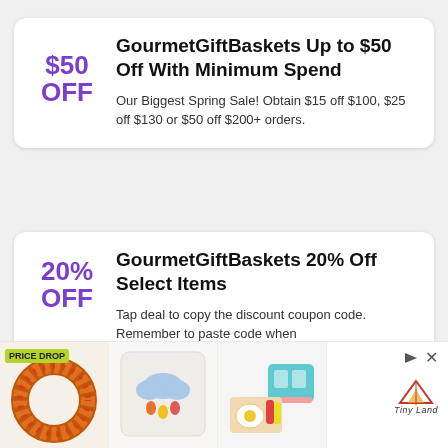GourmetGiftBaskets Up to $50 Off With Minimum Spend
Our Biggest Spring Sale! Obtain $15 off $100, $25 off $130 or $50 off $200+ orders.
GourmetGiftBaskets 20% Off Select Items
Tap deal to copy the discount coupon code. Remember to paste code when
[Figure (photo): Advertisement banner with three product images: an autumn wreath with PRICE DROP badge, a decorative cloud pillow, and toy kitchen set. Tiny Land brand logo on the right.]